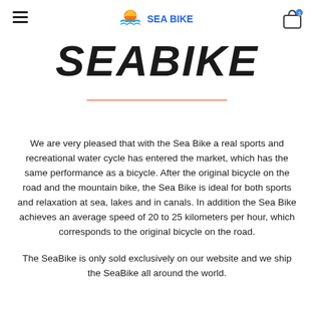SEA BIKE
SEABIKE
We are very pleased that with the Sea Bike a real sports and recreational water cycle has entered the market, which has the same performance as a bicycle. After the original bicycle on the road and the mountain bike, the Sea Bike is ideal for both sports and relaxation at sea, lakes and in canals. In addition the Sea Bike achieves an average speed of 20 to 25 kilometers per hour, which corresponds to the original bicycle on the road.
The SeaBike is only sold exclusively on our website and we ship the SeaBike all around the world.